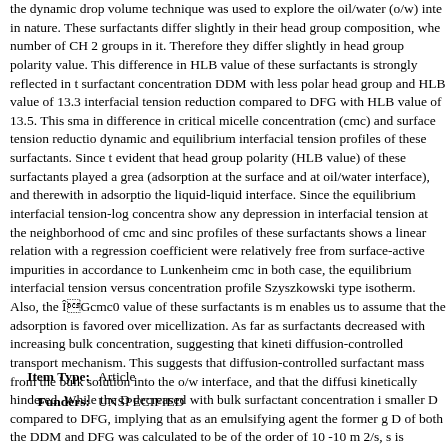the dynamic drop volume technique was used to explore the oil/water (o/w) inte in nature. These surfactants differ slightly in their head group composition, whe number of CH 2 groups in it. Therefore they differ slightly in head group polarity value. This difference in HLB value of these surfactants is strongly reflected in t surfactant concentration DDM with less polar head group and HLB value of 13.3 interfacial tension reduction compared to DFG with HLB value of 13.5. This sma in difference in critical micelle concentration (cmc) and surface tension reductio dynamic and equilibrium interfacial tension profiles of these surfactants. Since t evident that head group polarity (HLB value) of these surfactants played a grea (adsorption at the surface and at oil/water interface), and therewith in adsorptio the liquid-liquid interface. Since the equilibrium interfacial tension-log concentra show any depression in interfacial tension at the neighborhood of cmc and sinc profiles of these surfactants shows a linear relation with a regression coefficient were relatively free from surface-active impurities in accordance to Lunkenheim cmc in both case, the equilibrium interfacial tension versus concentration profile Szyszkowski type isotherm. Also, the ÎGcmc0 value of these surfactants is m enables us to assume that the adsorption is favored over micellization. As far as surfactants decreased with increasing bulk concentration, suggesting that kineti diffusion-controlled transport mechanism. This suggests that diffusion-controlled surfactant mass from the bulk solution into the o/w interface, and that the diffusi kinetically hindered. While the D decreased with bulk surfactant concentration i smaller D compared to DFG, implying that as an emulsifying agent the former g D of both the DDM and DFG was calculated to be of the order of 10 -10 m 2/s, s is comparable to most commercially available non-ionic surfactants. The magni these surfactants from the subsurface to the given o/w interface is slow, which i given o/w interface is cooperative, that as emulsifying agents these surfactants surfactants.
Item Type: Article
Funders: UNSPECIFIED